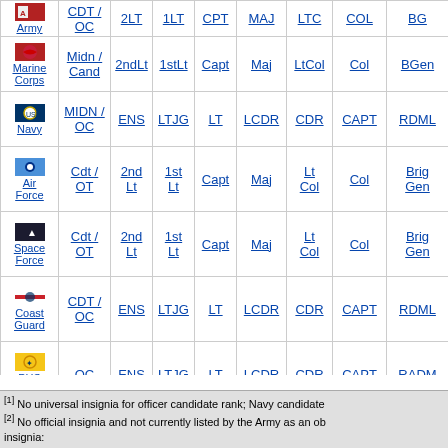| Branch | O-1/Cand | O-2 | O-3 | O-4 | O-5 | O-6 | O-7 | O-8+ |
| --- | --- | --- | --- | --- | --- | --- | --- | --- |
| Army | CDT / OC | 2LT | 1LT | CPT | MAJ | LTC | COL | BG |
| Marine Corps | Midn / Cand | 2ndLt | 1stLt | Capt | Maj | LtCol | Col | BGen |
| Navy | MIDN / OC | ENS | LTJG | LT | LCDR | CDR | CAPT | RDML |
| Air Force | Cdt / OT | 2nd Lt | 1st Lt | Capt | Maj | Lt Col | Col | Brig Gen |
| Space Force | Cdt / OT | 2nd Lt | 1st Lt | Capt | Maj | Lt Col | Col | Brig Gen |
| Coast Guard | CDT / OC | ENS | LTJG | LT | LCDR | CDR | CAPT | RDML |
| PHS Corps | OC | ENS | LTJG | LT | LCDR | CDR | CAPT | RADM |
| NOAA Corps | OC | ENS | LTJG | LT | LCDR | CDR | CAPT | RDML |
[1] No universal insignia for officer candidate rank; Navy candidate [2] No official insignia and not currently listed by the Army as an ob insignia: